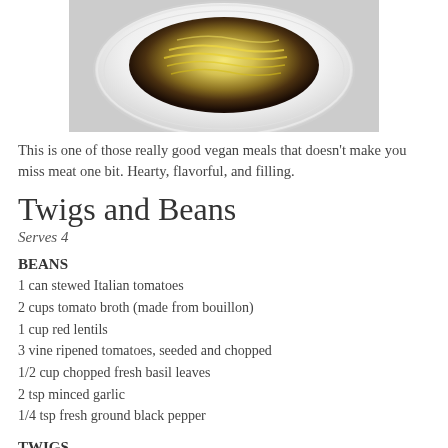[Figure (photo): Photo of a dish of spaghetti squash on a white decorative plate, viewed from above, showing yellow strands]
This is one of those really good vegan meals that doesn't make you miss meat one bit.  Hearty, flavorful, and filling.
Twigs and Beans
Serves 4
BEANS
1 can stewed Italian tomatoes
2 cups tomato broth (made from bouillon)
1 cup red lentils
3 vine ripened tomatoes, seeded and chopped
1/2 cup chopped fresh basil leaves
2 tsp minced garlic
1/4 tsp fresh ground black pepper
TWIGS
1 medium spaghetti squash, halved lengthwise and seeded
Olive oil